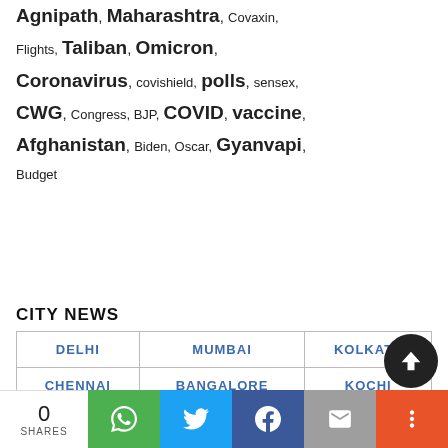Agnipath, Maharashtra, Covaxin, Flights, Taliban, Omicron, Coronavirus, covishield, polls, sensex, CWG, Congress, BJP, COVID, vaccine, Afghanistan, Biden, Oscar, Gyanvapi, Budget
CITY NEWS
| DELHI | MUMBAI | KOLKATA |
| CHENNAI | BANGALORE | KOCHI |
MORE CITIES
0 SHARES